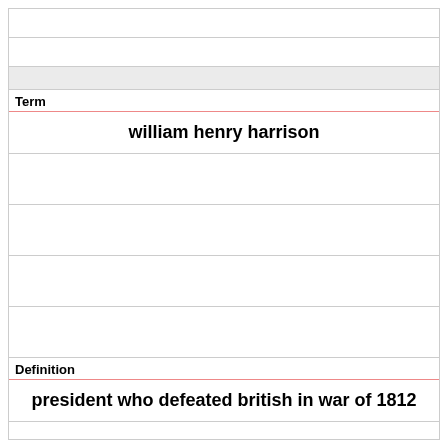Term
william henry harrison
Definition
president who defeated british in war of 1812